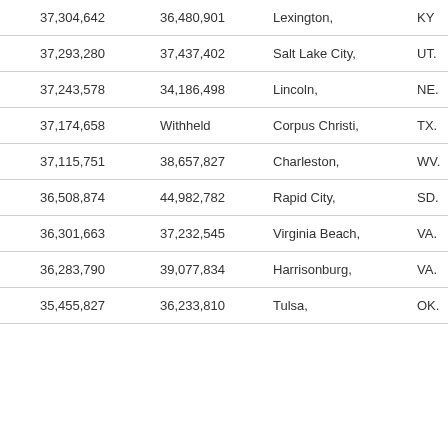| 37,304,642 | 36,480,901 | Lexington, | KY | 472,099 |
| 37,293,280 | 37,437,402 | Salt Lake City, | UT. | 1,087,873 |
| 37,243,578 | 34,186,498 | Lincoln, | NE. | 36,288 |
| 37,174,658 | Withheld | Corpus Christi, | TX. | 428,185 |
| 37,115,751 | 38,657,827 | Charleston, | WV. | 309,635 |
| 36,508,874 | 44,982,782 | Rapid City, | SD. | 134,598 |
| 36,301,663 | 37,232,545 | Virginia Beach, | VA. | 1,676,822 |
| 36,283,790 | 39,077,834 | Harrisonburg, | VA. | 125,228 |
| 35,455,827 | 36,233,810 | Tulsa, | OK. | 937,478 |